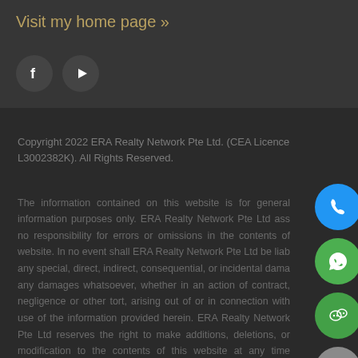Visit my home page »
[Figure (screenshot): Social media icons: Facebook (f) and YouTube (play button) in dark circular buttons]
Copyright 2022 ERA Realty Network Pte Ltd. (CEA Licence L3002382K). All Rights Reserved.
The information contained on this website is for general information purposes only. ERA Realty Network Pte Ltd assumes no responsibility for errors or omissions in the contents of this website. In no event shall ERA Realty Network Pte Ltd be liable for any special, direct, indirect, consequential, or incidental damages or any damages whatsoever, whether in an action of contract, negligence or other tort, arising out of or in connection with the use of the information provided herein. ERA Realty Network Pte Ltd reserves the right to make additions, deletions, or modification to the contents of this website at any time without prior notice.
[Figure (infographic): Floating action buttons on right side: blue phone button, green WhatsApp button, green WeChat button, gray send/Telegram button]